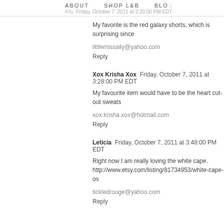ABOUT   SHOP L&B   BLOG
AIly  Friday, October 7, 2011 at 3:20:00 PM EDT
My favorite is the red galaxy shorts, which is surprising since
littlemissaily@yahoo.com
Reply
Xox Krisha Xox  Friday, October 7, 2011 at 3:28:00 PM EDT
My favourite item would have to be the heart cut-out sweats
xox.krisha.xox@hotmail.com
Reply
Leticia  Friday, October 7, 2011 at 3:48:00 PM EDT
Right now I am really loving the white cape.
http://www.etsy.com/listing/81734953/white-cape-os
tickledrouge@yahoo.com
Reply